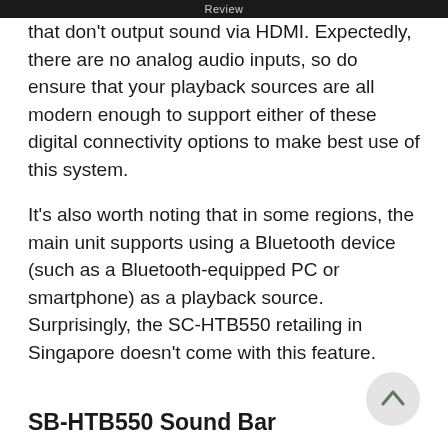Review
that don't output sound via HDMI. Expectedly, there are no analog audio inputs, so do ensure that your playback sources are all modern enough to support either of these digital connectivity options to make best use of this system.
It's also worth noting that in some regions, the main unit supports using a Bluetooth device (such as a Bluetooth-equipped PC or smartphone) as a playback source. Surprisingly, the SC-HTB550 retailing in Singapore doesn't come with this feature.
SB-HTB550 Sound Bar